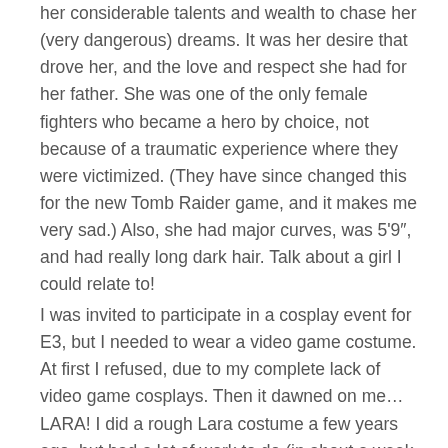her considerable talents and wealth to chase her (very dangerous) dreams. It was her desire that drove her, and the love and respect she had for her father. She was one of the only female fighters who became a hero by choice, not because of a traumatic experience where they were victimized. (They have since changed this for the new Tomb Raider game, and it makes me very sad.) Also, she had major curves, was 5'9", and had really long dark hair. Talk about a girl I could relate to!
I was invited to participate in a cosplay event for E3, but I needed to wear a video game costume. At first I refused, due to my complete lack of video game cosplays. Then it dawned on me… LARA! I did a rough Lara costume a few years ago, but had a lot of work to do (in about a week and a half) to bring it up to the standards of my other cosplays. Now, LOTS of people do Lara cosplays. They are easily recognizable, even